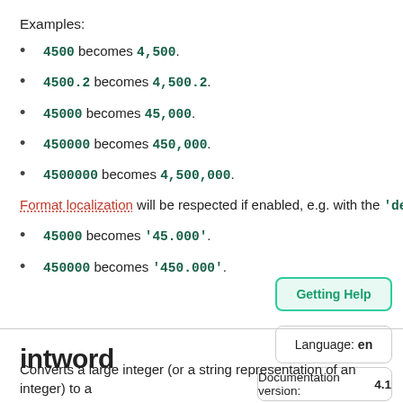Examples:
4500 becomes 4,500.
4500.2 becomes 4,500.2.
45000 becomes 45,000.
450000 becomes 450,000.
4500000 becomes 4,500,000.
Format localization will be respected if enabled, e.g. with the 'de' language:
45000 becomes '45.000'.
450000 becomes '450.000'.
intword
Converts a large integer (or a string representation of an integer) to a